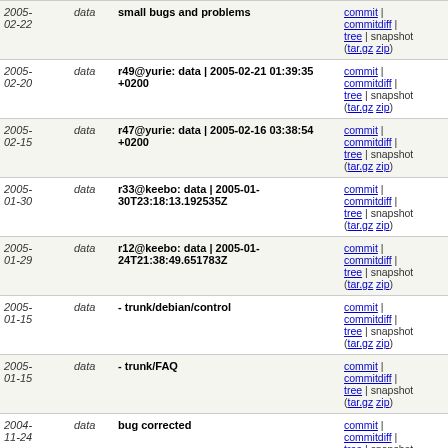| date | author | message | links |
| --- | --- | --- | --- |
| 2005-02-22 | data | small bugs and problems | commit | commitdiff | tree | snapshot (tar.gz zip) |
| 2005-02-20 | data | r49@yurie: data | 2005-02-21 01:39:35 +0200 | commit | commitdiff | tree | snapshot (tar.gz zip) |
| 2005-02-15 | data | r47@yurie: data | 2005-02-16 03:38:54 +0200 | commit | commitdiff | tree | snapshot (tar.gz zip) |
| 2005-01-30 | data | r33@keebo: data | 2005-01-30T23:18:13.192535Z | commit | commitdiff | tree | snapshot (tar.gz zip) |
| 2005-01-29 | data | r12@keebo: data | 2005-01-24T21:38:49.651783Z | commit | commitdiff | tree | snapshot (tar.gz zip) |
| 2005-01-15 | data | - trunk/debian/control | commit | commitdiff | tree | snapshot (tar.gz zip) |
| 2005-01-15 | data | - trunk/FAQ | commit | commitdiff | tree | snapshot (tar.gz zip) |
| 2004-11-24 | data | bug corrected | commit | commitdiff | tree | snapshot (tar.gz zip) |
| 2004-11-09 | data | last changes before 2.2 | commit | commitdiff | tree | snapshot (tar.gz zip) |
| 2004-11-09 | data | Small fixes in TRACKNAME | commit | commitdiff | tree | snapshot (tar.gz zip) |